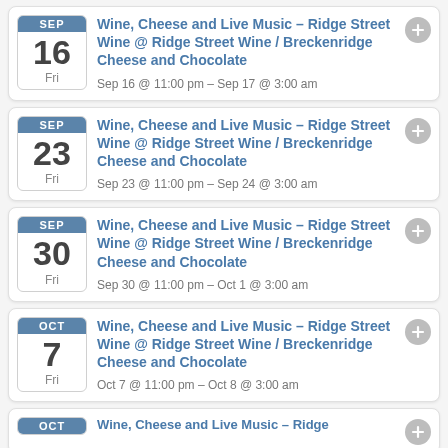SEP 16 Fri – Wine, Cheese and Live Music – Ridge Street Wine @ Ridge Street Wine / Breckenridge Cheese and Chocolate – Sep 16 @ 11:00 pm – Sep 17 @ 3:00 am
SEP 23 Fri – Wine, Cheese and Live Music – Ridge Street Wine @ Ridge Street Wine / Breckenridge Cheese and Chocolate – Sep 23 @ 11:00 pm – Sep 24 @ 3:00 am
SEP 30 Fri – Wine, Cheese and Live Music – Ridge Street Wine @ Ridge Street Wine / Breckenridge Cheese and Chocolate – Sep 30 @ 11:00 pm – Oct 1 @ 3:00 am
OCT 7 Fri – Wine, Cheese and Live Music – Ridge Street Wine @ Ridge Street Wine / Breckenridge Cheese and Chocolate – Oct 7 @ 11:00 pm – Oct 8 @ 3:00 am
OCT (partial)